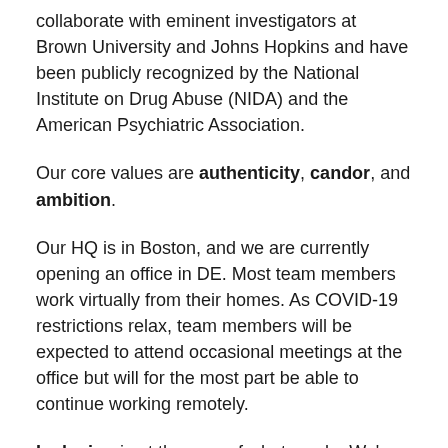collaborate with eminent investigators at Brown University and Johns Hopkins and have been publicly recognized by the National Institute on Drug Abuse (NIDA) and the American Psychiatric Association.
Our core values are authenticity, candor, and ambition.
Our HQ is in Boston, and we are currently opening an office in DE. Most team members work virtually from their homes. As COVID-19 restrictions relax, team members will be expected to attend occasional meetings at the office but will for the most part be able to continue working remotely.
Inclusion is at the core of what we do. We're working to bring care to the most underserved and stigmatized patients. We actively welcome applicants from a wealth of different backgrounds, including but not limited to...